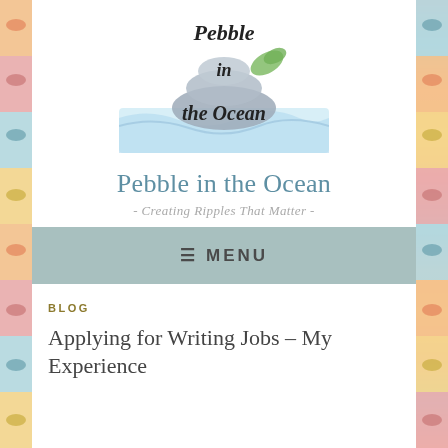[Figure (logo): Pebble in the Ocean blog logo: stacked grey pebble stones with a green leaf, and ocean wave at bottom, with script text 'Pebble in the Ocean' overlaid]
Pebble in the Ocean
- Creating Ripples That Matter -
≡ MENU
BLOG
Applying for Writing Jobs – My Experience